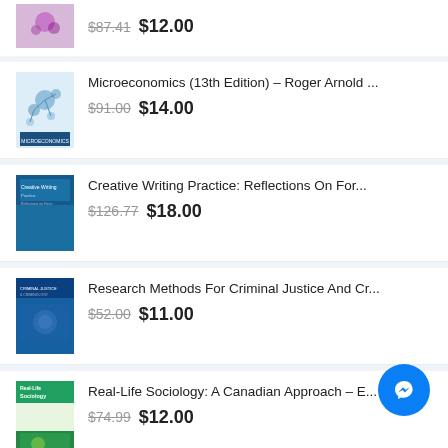Partial item — $87.41 crossed out, $12.00
Microeconomics (13th Edition) – Roger Arnold ... $91.00 crossed out, $14.00
Creative Writing Practice: Reflections On For... $126.77 crossed out, $18.00
Research Methods For Criminal Justice And Cr... $52.00 crossed out, $11.00
Real-Life Sociology: A Canadian Approach – E... $74.99 crossed out, $12.00
Media And Culture: An Introduction To Mass C... $106.99 crossed out, $15.00